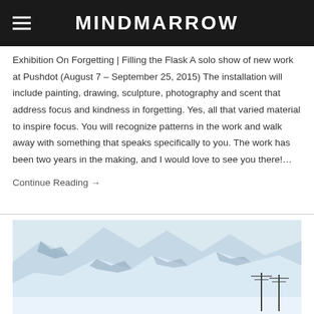MINDMARROW
Exhibition On Forgetting | Filling the Flask A solo show of new work at Pushdot (August 7 – September 25, 2015) The installation will include painting, drawing, sculpture, photography and scent that address focus and kindness in forgetting. Yes, all that varied material to inspire focus. You will recognize patterns in the work and walk away with something that speaks specifically to you. The work has been two years in the making, and I would love to see you there!…
Continue Reading →
[Figure (photo): Snow-covered mountain landscape with utility poles visible in the lower right, taken in overcast winter conditions.]